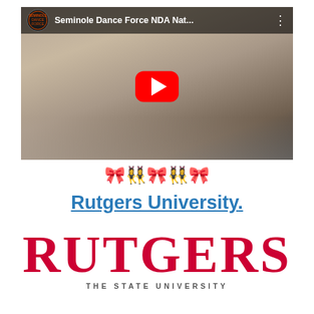[Figure (screenshot): YouTube video thumbnail showing 'Seminole Dance Force NDA Nat...' with female dancers in white outfits and a red YouTube play button overlay. Channel icon visible top left.]
[Figure (illustration): Small cheerleader/dancer emoji figures arranged in a decorative row]
Rutgers University.
[Figure (logo): Rutgers University logo — large red serif 'RUTGERS' text with 'THE STATE UNIVERSITY' subtitle below]